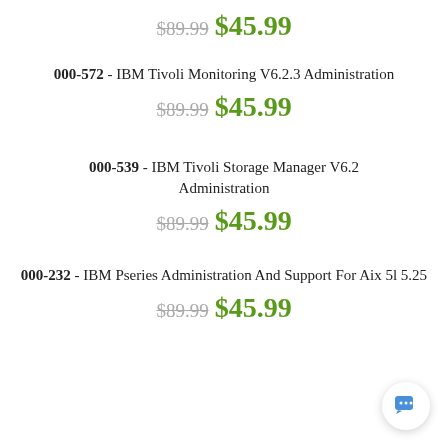$89.99 $45.99
000-572 - IBM Tivoli Monitoring V6.2.3 Administration
$89.99 $45.99
000-539 - IBM Tivoli Storage Manager V6.2 Administration
$89.99 $45.99
000-232 - IBM Pseries Administration And Support For Aix 5l 5.25
$89.99 $45.99